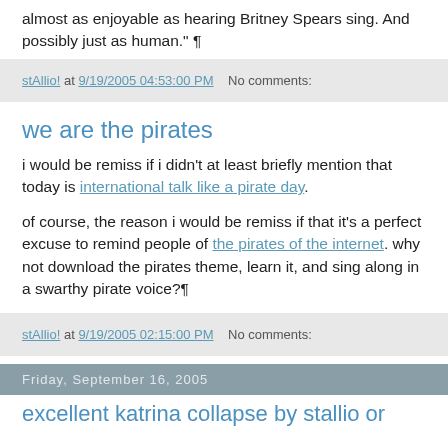almost as enjoyable as hearing Britney Spears sing. And possibly just as human." ¶
stAllio! at 9/19/2005 04:53:00 PM   No comments:
we are the pirates
i would be remiss if i didn't at least briefly mention that today is international talk like a pirate day.
of course, the reason i would be remiss if that it's a perfect excuse to remind people of the pirates of the internet. why not download the pirates theme, learn it, and sing along in a swarthy pirate voice?¶
stAllio! at 9/19/2005 02:15:00 PM   No comments:
Friday, September 16, 2005
excellent katrina collapse by stallio or